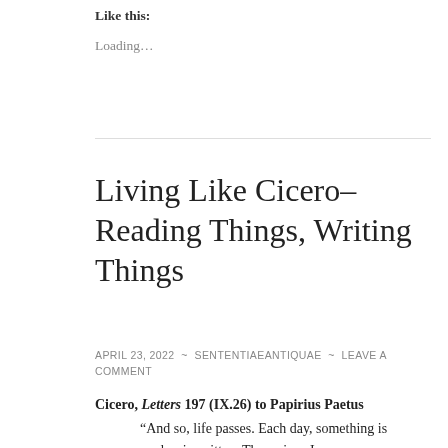Like this:
Loading...
Living Like Cicero– Reading Things, Writing Things
APRIL 23, 2022 ~ SENTENTIAEANTIQUAE ~ LEAVE A COMMENT
Cicero, Letters 197 (IX.26) to Papirius Paetus
“And so, life passes. Each day, something is read or is written. Then, since I owe